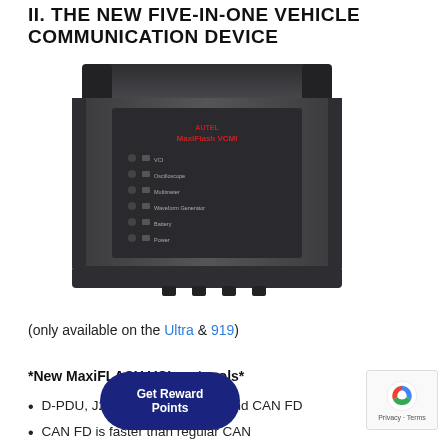II. THE NEW FIVE-IN-ONE VEHICLE COMMUNICATION DEVICE
[Figure (photo): Photo of the Autel MaxiFlash VCMI vehicle communication device — a dark grey rectangular box with status indicator lights and labels on the front panel]
(only available on the Ultra & 919)
*New MaxiFLASH VCI protocols*
D-PDU, J2534, RP1210, DoIP and CAN FD
CAN FD is faster than regular CAN